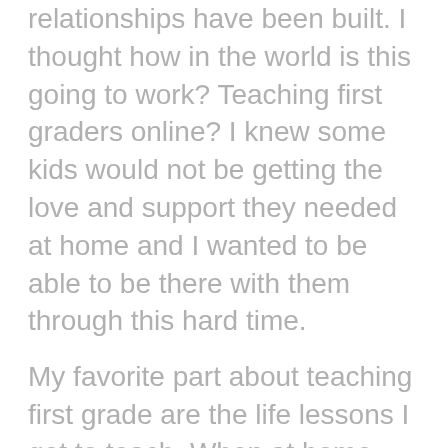relationships have been built. I thought how in the world is this going to work? Teaching first graders online? I knew some kids would not be getting the love and support they needed at home and I wanted to be able to be there with them through this hard time.
My favorite part about teaching first grade are the life lessons I get to teach. When at home this was not able to be done as easily. Simple things like waiting your turn, understanding everyone is different, we don't always get our way and sometimes we are "bored" and you still have to be respectful are some things that were hard to teach.